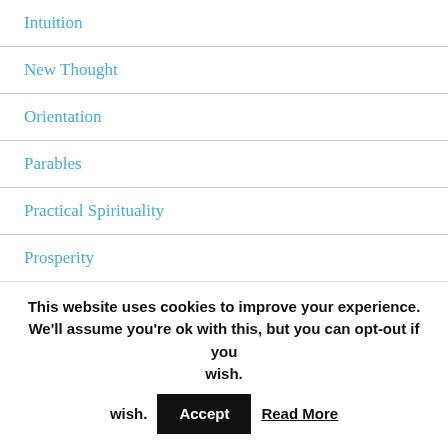Intuition
New Thought
Orientation
Parables
Practical Spirituality
Prosperity
Spiritual Authority
Spiritual Beliefs to Change Your Life
This website uses cookies to improve your experience. We'll assume you're ok with this, but you can opt-out if you wish. Accept Read More